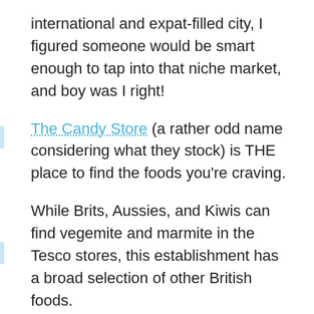international and expat-filled city, I figured someone would be smart enough to tap into that niche market, and boy was I right!
The Candy Store (a rather odd name considering what they stock) is THE place to find the foods you're craving.
While Brits, Aussies, and Kiwis can find vegemite and marmite in the Tesco stores, this establishment has a broad selection of other British foods.
There are a few locations, but I have learned that the Vinohrady store is 80% British foods while the Na Rybníčku shop sells mostly American products.
It isn't just candy and sugary cereals either. They have tons of products like salad dressings, beverages, baking products, and even frozen dinners and meats (like sliced HoneyBaked ham).